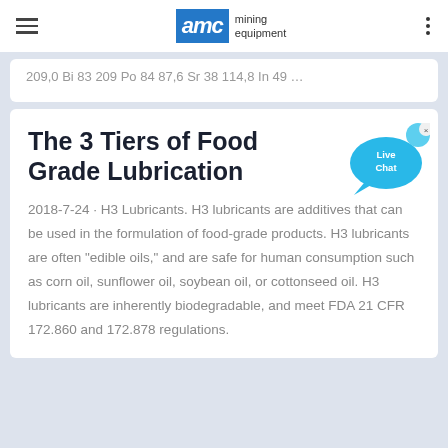AMC mining equipment
209,0 Bi 83 209 Po 84 87,6 Sr 38 114,8 In 49 …
The 3 Tiers of Food Grade Lubrication
2018-7-24 · H3 Lubricants. H3 lubricants are additives that can be used in the formulation of food-grade products. H3 lubricants are often "edible oils," and are safe for human consumption such as corn oil, sunflower oil, soybean oil, or cottonseed oil. H3 lubricants are inherently biodegradable, and meet FDA 21 CFR 172.860 and 172.878 regulations.
[Figure (illustration): Live Chat speech bubble widget in cyan/blue color with 'Live Chat' text and a close (x) button]